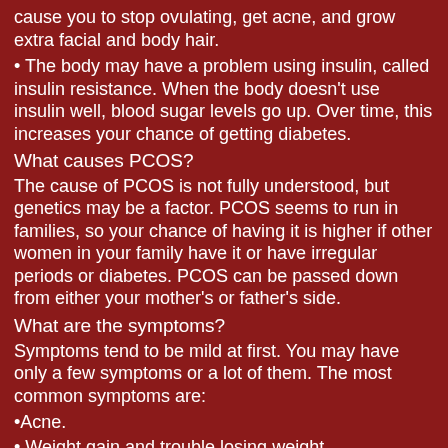cause you to stop ovulating, get acne, and grow extra facial and body hair.
The body may have a problem using insulin, called insulin resistance. When the body doesn't use insulin well, blood sugar levels go up. Over time, this increases your chance of getting diabetes.
What causes PCOS?
The cause of PCOS is not fully understood, but genetics may be a factor. PCOS seems to run in families, so your chance of having it is higher if other women in your family have it or have irregular periods or diabetes. PCOS can be passed down from either your mother's or father's side.
What are the symptoms?
Symptoms tend to be mild at first. You may have only a few symptoms or a lot of them. The most common symptoms are:
Acne.
Weight gain and trouble losing weight.
Extra hair on the face and body. Often women get thicker and darker facial hair and more hair on the chest, belly, and back.
Thinning hair on the scalp.
Irregular periods. Often women with PCOS have fewer than...